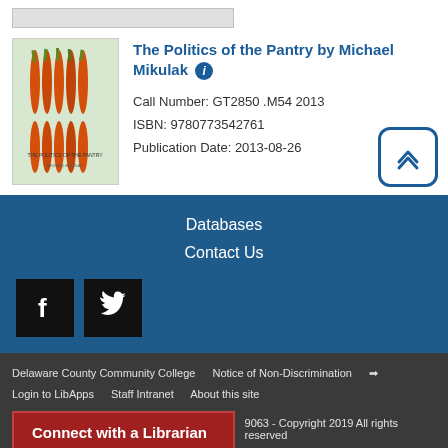[Figure (illustration): Book cover of 'The Politics of the Pantry' showing carrots on a light green background]
The Politics of the Pantry by Michael Mikulak
Call Number: GT2850 .M54 2013
ISBN: 9780773542761
Publication Date: 2013-08-26
Databases
Contact Us
[Figure (logo): Facebook icon - black square with white F]
[Figure (logo): Twitter icon - black square with white bird]
Delaware County Community College   Notice of Non-Discrimination   Login to LibApps   Staff Intranet   About this site   9063 - Copyright 2019 All rights reserved
Connect with a Librarian